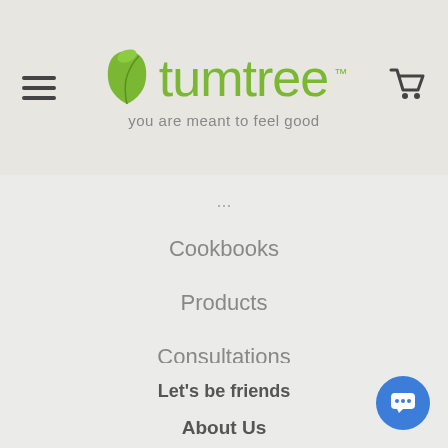[Figure (logo): Tumtree logo with green leaf icon and green text 'tumtree' with TM mark, tagline 'you are meant to feel good']
...
Cookbooks
Products
Consultations
Let's be friends
[Figure (illustration): Social media icons: Facebook, Instagram, Pinterest, YouTube]
About Us